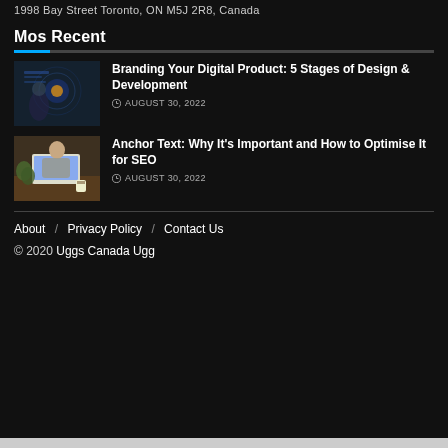1998 Bay Street Toronto, ON M5J 2R8, Canada
Mos Recent
[Figure (photo): Person touching glowing digital interface in dark setting]
Branding Your Digital Product: 5 Stages of Design & Development
AUGUST 30, 2022
[Figure (photo): Person working on laptop at a desk with a coffee cup]
Anchor Text: Why It's Important and How to Optimise It for SEO
AUGUST 30, 2022
About / Privacy Policy / Contact Us
© 2020 Uggs Canada Ugg